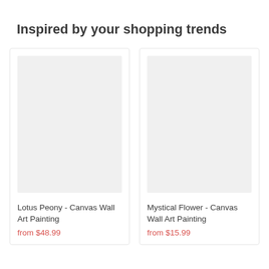Inspired by your shopping trends
[Figure (photo): Product image placeholder for Lotus Peony - Canvas Wall Art Painting (grey rectangle)]
Lotus Peony - Canvas Wall Art Painting
from $48.99
[Figure (photo): Product image placeholder for Mystical Flower - Canvas Wall Art Painting (grey rectangle)]
Mystical Flower - Canvas Wall Art Painting
from $15.99